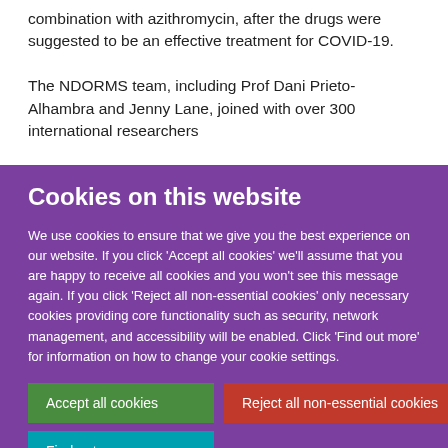combination with azithromycin, after the drugs were suggested to be an effective treatment for COVID-19.

The NDORMS team, including Prof Dani Prieto-Alhambra and Jenny Lane, joined with over 300 international researchers
Cookies on this website
We use cookies to ensure that we give you the best experience on our website. If you click 'Accept all cookies' we'll assume that you are happy to receive all cookies and you won't see this message again. If you click 'Reject all non-essential cookies' only necessary cookies providing core functionality such as security, network management, and accessibility will be enabled. Click 'Find out more' for information on how to change your cookie settings.